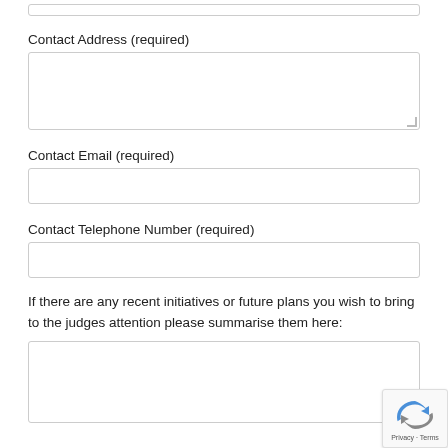Contact Address (required)
Contact Email (required)
Contact Telephone Number (required)
If there are any recent initiatives or future plans you wish to bring to the judges attention please summarise them here:
[Figure (other): Google reCAPTCHA badge in bottom-right corner showing reCAPTCHA logo, Privacy and Terms links]